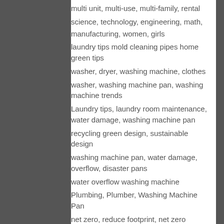multi unit, multi-use, multi-family, rental
science, technology, engineering, math,
manufacturing, women, girls
laundry tips mold cleaning pipes home green tips
washer, dryer, washing machine, clothes
washer, washing machine pan, washing machine trends
Laundry tips, laundry room maintenance, water damage, washing machine pan
recycling green design, sustainable design
washing machine pan, water damage, overflow, disaster pans
water overflow washing machine
Plumbing, Plumber, Washing Machine Pan
net zero, reduce footprint, net zero homes, sustainability
new product releases Design
front loading washer, Winterizing…